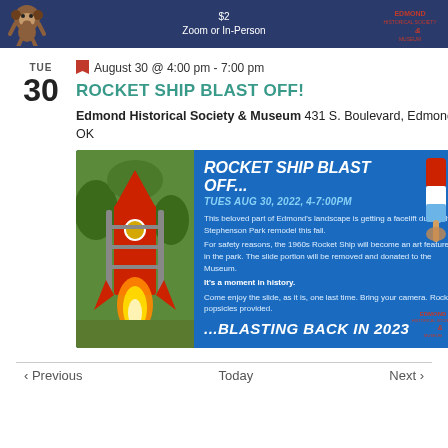[Figure (illustration): Top banner with dark blue background showing price '$2' and 'Zoom or In-Person' text, with a monkey illustration on the left and Edmond Historical Society & Museum logo on the right]
TUE 30
August 30 @ 4:00 pm - 7:00 pm
ROCKET SHIP BLAST OFF!
Edmond Historical Society & Museum 431 S. Boulevard, Edmond, OK
[Figure (illustration): Blue promotional flyer for Rocket Ship Blast Off event on Tues Aug 30, 2022, 4-7:00pm. Shows a photo of a red rocket ship playground structure on the left, a rocket popsicle on the right, text describing the Stephenson Park remodel and the 1960s Rocket Ship being repurposed, ending with '...BLASTING BACK IN 2023'. Edmond Historical Society & Museum logo at bottom right.]
< Previous   Today   Next >